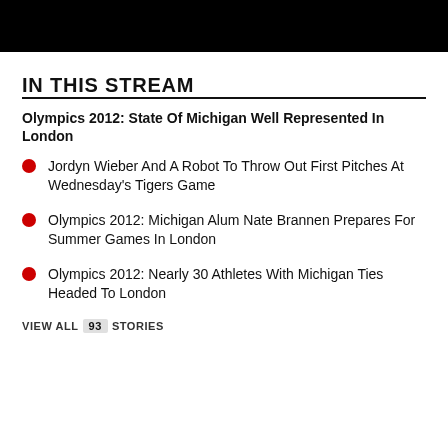[Figure (photo): Black banner image at top of page]
IN THIS STREAM
Olympics 2012: State Of Michigan Well Represented In London
Jordyn Wieber And A Robot To Throw Out First Pitches At Wednesday's Tigers Game
Olympics 2012: Michigan Alum Nate Brannen Prepares For Summer Games In London
Olympics 2012: Nearly 30 Athletes With Michigan Ties Headed To London
VIEW ALL 93 STORIES